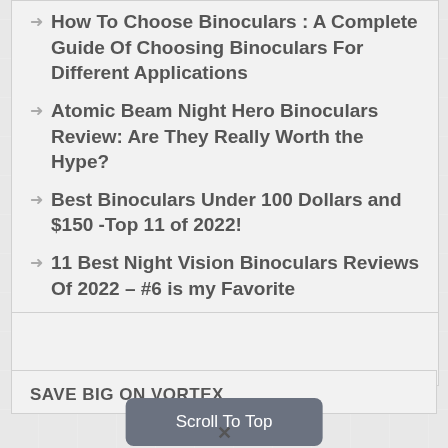How To Choose Binoculars : A Complete Guide Of Choosing Binoculars For Different Applications
Atomic Beam Night Hero Binoculars Review: Are They Really Worth the Hype?
Best Binoculars Under 100 Dollars and $150 -Top 11 of 2022!
11 Best Night Vision Binoculars Reviews Of 2022 – #6 is my Favorite
How To Clean Binoculars : Step-by-Step!
[Figure (other): Empty advertisement placeholder card]
SAVE BIG ON VORTEX
Scroll To Top